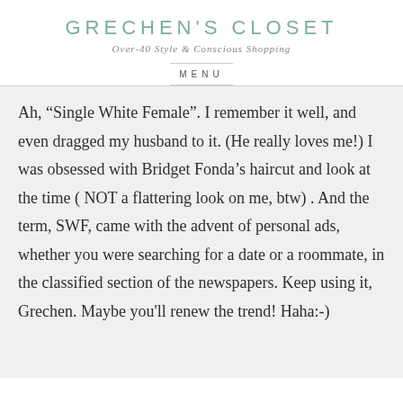GRECHEN'S CLOSET
Over-40 Style & Conscious Shopping
MENU
Ah, “Single White Female”. I remember it well, and even dragged my husband to it. (He really loves me!) I was obsessed with Bridget Fonda’s haircut and look at the time ( NOT a flattering look on me, btw) . And the term, SWF, came with the advent of personal ads, whether you were searching for a date or a roommate, in the classified section of the newspapers. Keep using it, Grechen. Maybe you'll renew the trend! Haha:-)